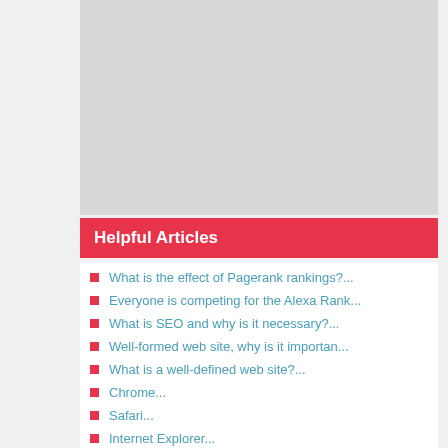[Figure (other): Gray advertisement/placeholder area]
Helpful Articles
What is the effect of Pagerank rankings?...
Everyone is competing for the Alexa Rank...
What is SEO and why is it necessary?...
Well-formed web site, why is it importan...
What is a well-defined web site?...
Chrome...
Safari...
Internet Explorer...